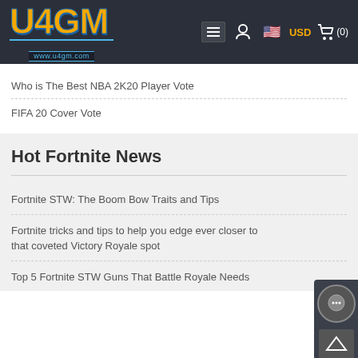U4GM www.u4gm.com
Who is The Best NBA 2K20 Player Vote
FIFA 20 Cover Vote
Hot Fortnite News
Fortnite STW: The Boom Bow Traits and Tips
Fortnite tricks and tips to help you edge ever closer to that coveted Victory Royale spot
Top 5 Fortnite STW Guns That Battle Royale Needs